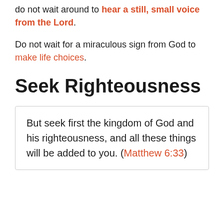do not wait around to hear a still, small voice from the Lord.
Do not wait for a miraculous sign from God to make life choices.
Seek Righteousness
But seek first the kingdom of God and his righteousness, and all these things will be added to you. (Matthew 6:33)